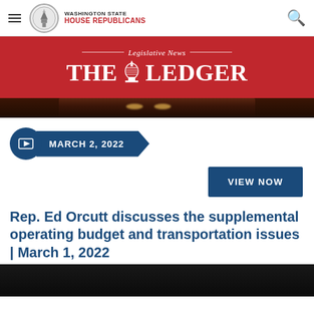Washington State House Republicans
[Figure (logo): Washington State House Republicans logo with circular seal and red text]
[Figure (infographic): The Ledger Legislative News banner with red background and capitol building icon]
[Figure (infographic): Venue interior strip image]
MARCH 2, 2022
VIEW NOW
Rep. Ed Orcutt discusses the supplemental operating budget and transportation issues | March 1, 2022
[Figure (photo): Thumbnail image of video content]